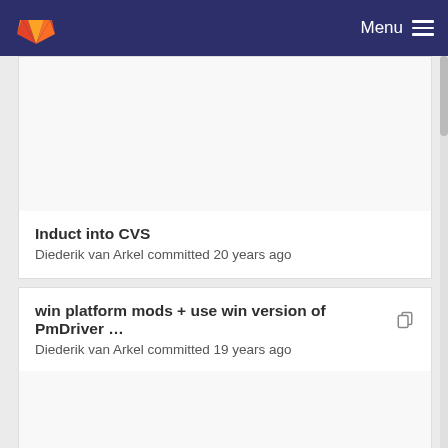Menu
Induct into CVS
Diederik van Arkel committed 20 years ago
win platform mods + use win version of PmDriver …
Diederik van Arkel committed 19 years ago
Induct into CVS